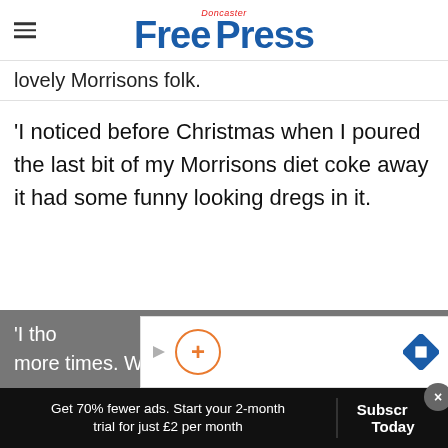Doncaster Free Press
lovely Morrisons folk.
'I noticed before Christmas when I poured the last bit of my Morrisons diet coke away it had some funny looking dregs in it.
'I tho... d a few more times. We decided to open a fresh can
Get 70% fewer ads. Start your 2-month trial for just £2 per month
Subscr... Today